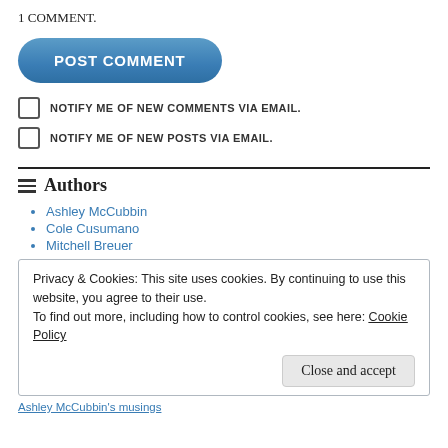1 COMMENT.
POST COMMENT
NOTIFY ME OF NEW COMMENTS VIA EMAIL.
NOTIFY ME OF NEW POSTS VIA EMAIL.
Authors
Ashley McCubbin
Cole Cusumano
Mitchell Breuer
Privacy & Cookies: This site uses cookies. By continuing to use this website, you agree to their use.
To find out more, including how to control cookies, see here: Cookie Policy
Close and accept